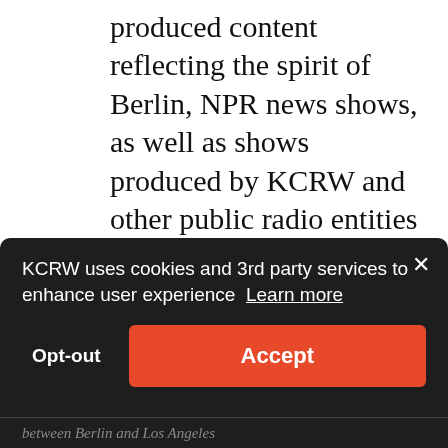produced content reflecting the spirit of Berlin, NPR news shows, as well as shows produced by KCRW and other public radio entities in the United States. Community events will also feature strongly in KCRW Berlin's activities, from annual holiday events to Town Halls and panel discussions.
KCRW uses cookies and 3rd party services to enhance user experience Learn more
Opt-out
Accept
between Berlin and Los Angeles